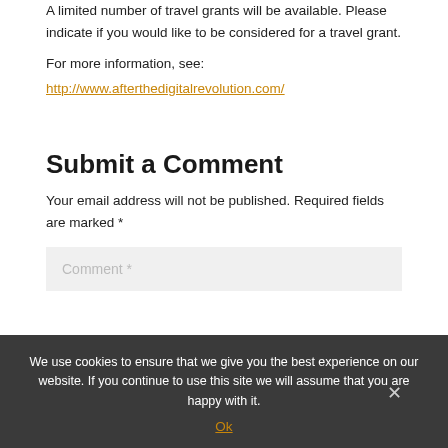A limited number of travel grants will be available. Please indicate if you would like to be considered for a travel grant.
For more information, see:
http://www.afterthedigitalrevolution.com/
Submit a Comment
Your email address will not be published. Required fields are marked *
Comment *
We use cookies to ensure that we give you the best experience on our website. If you continue to use this site we will assume that you are happy with it.
Ok